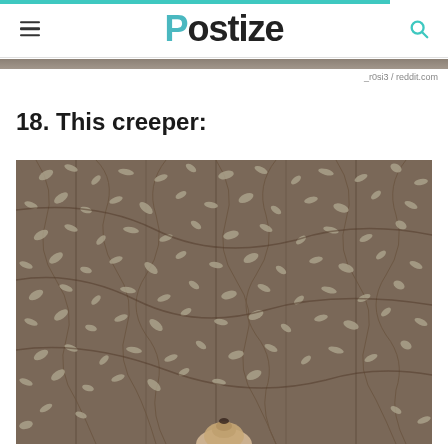Postize
_r0si3 / reddit.com
18. This creeper:
[Figure (photo): Photo of a wooden fence completely covered in dense, tangled creeper vines with small seed pods and leaves, with a dog's snout peeking up from the bottom of the frame.]